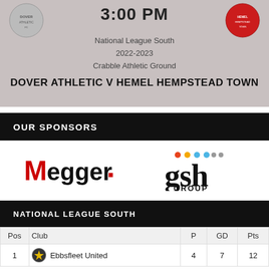3:00 PM
National League South
2022-2023
Crabble Athletic Ground
DOVER ATHLETIC V HEMEL HEMPSTEAD TOWN
OUR SPONSORS
[Figure (logo): Megger logo in red and black]
[Figure (logo): GSH Group logo with coloured dots]
NATIONAL LEAGUE SOUTH
| Pos | Club | P | GD | Pts |
| --- | --- | --- | --- | --- |
| 1 | Ebbsfleet United | 4 | 7 | 12 |